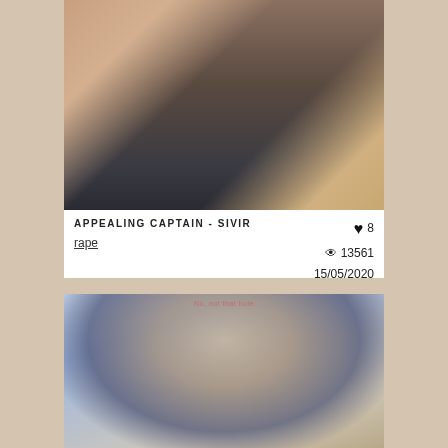[Figure (illustration): Cropped anime-style illustration of Captain Sivir character from League of Legends, showing upper body with armor details against dark background]
APPEALING CAPTAIN - SIVIR
♥ 8
rape
👁 13561
15/05/2020
[Figure (illustration): Anime-style illustration of a female character with white/silver hair wearing a dark blue hood with gold trim, blushing expression, against a blue sky/ice background. Watermark text 'No, not that hole' visible at top.]